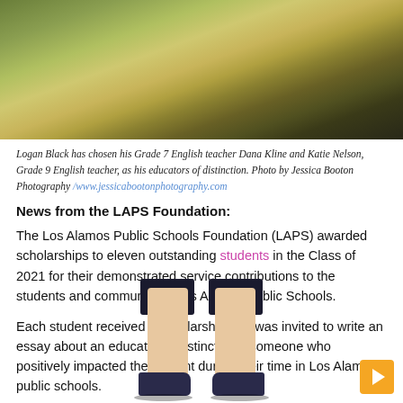[Figure (photo): Lower half of a person standing on grass, wearing dark shorts and dark sneakers, with shadow on ground.]
Logan Black has chosen his Grade 7 English teacher Dana Kline and Katie Nelson, Grade 9 English teacher, as his educators of distinction. Photo by Jessica Booton Photography /www.jessicabootonphotography.com
News from the LAPS Foundation:
The Los Alamos Public Schools Foundation (LAPS) awarded scholarships to eleven outstanding students in the Class of 2021 for their demonstrated service contributions to the students and community of Los Alamos Public Schools.
Each student received a scholarship and was invited to write an essay about an educator of distinction – someone who positively impacted the student during their time in Los Alamos public schools.